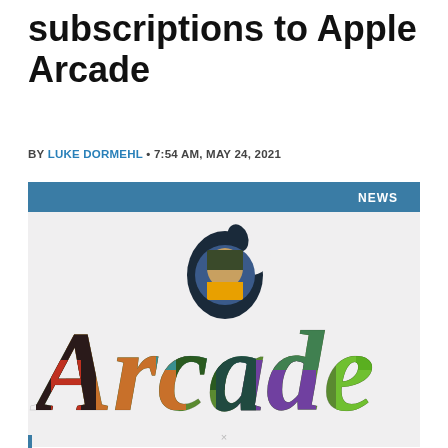subscriptions to Apple Arcade
BY LUKE DORMEHL • 7:54 AM, MAY 24, 2021
[Figure (illustration): Apple Arcade logo with game characters visible through the letterforms and the Apple logo with a face visible through the bite cutout, on a light gray background with a blue header bar labeled NEWS]